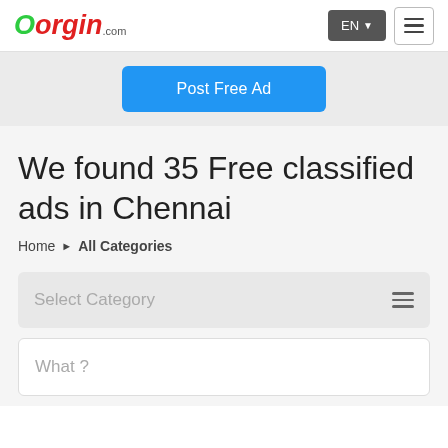Oorgin.com — EN — Menu
Post Free Ad
We found 35 Free classified ads in Chennai
Home ▶ All Categories
Select Category
What ?